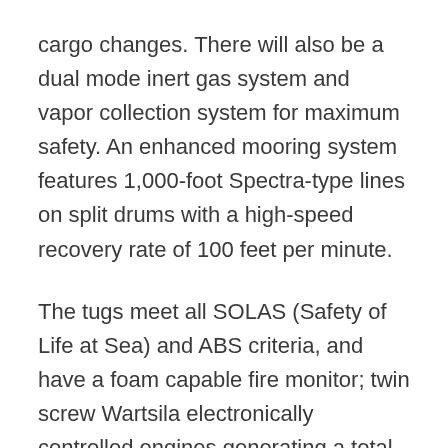cargo changes. There will also be a dual mode inert gas system and vapor collection system for maximum safety. An enhanced mooring system features 1,000-foot Spectra-type lines on split drums with a high-speed recovery rate of 100 feet per minute.
The tugs meet all SOLAS (Safety of Life at Sea) and ABS criteria, and have a foam capable fire monitor; twin screw Wartsila electronically controlled engines generating a total of 16,320 horsepower; a noise reduction package and other upgrades to increase crew comfort. The communication and navigation